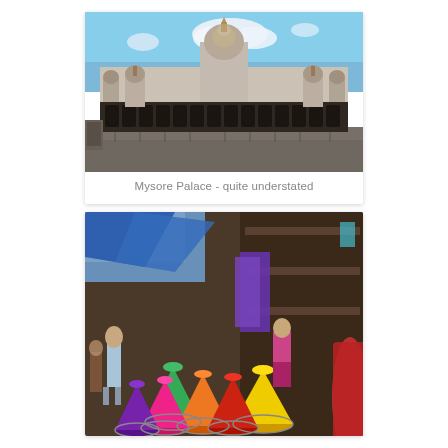[Figure (photo): Mysore Palace exterior view - ornate Indo-Saracenic architecture with domes, arches, and a wide forecourt under a partly cloudy blue sky]
Mysore Palace - quite understated
[Figure (photo): Colorful powder/dye stall in an Indian market with piles of vibrant colored powders (purple, pink, orange, yellow, green) arranged on platters, with a child standing nearby and a kite hanging above]